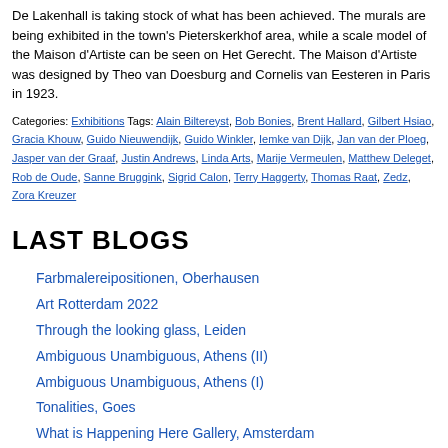De Lakenhall is taking stock of what has been achieved. The murals are being exhibited in the town's Pieterskerkhof area, while a scale model of the Maison d'Artiste can be seen on Het Gerecht. The Maison d'Artiste was designed by Theo van Doesburg and Cornelis van Eesteren in Paris in 1923.
Categories: Exhibitions Tags: Alain Biltereyst, Bob Bonies, Brent Hallard, Gilbert Hsiao, Gracia Khouw, Guido Nieuwendijk, Guido Winkler, Iemke van Dijk, Jan van der Ploeg, Jasper van der Graaf, Justin Andrews, Linda Arts, Marije Vermeulen, Matthew Deleget, Rob de Oude, Sanne Bruggink, Sigrid Calon, Terry Haggerty, Thomas Raat, Zedz, Zora Kreuzer
LAST BLOGS
Farbmalereipositionen, Oberhausen
Art Rotterdam 2022
Through the looking glass, Leiden
Ambiguous Unambiguous, Athens (II)
Ambiguous Unambiguous, Athens (I)
Tonalities, Goes
What is Happening Here Gallery, Amsterdam